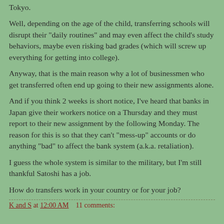Tokyo.
Well, depending on the age of the child, transferring schools will disrupt their "daily routines" and may even affect the child's study behaviors, maybe even risking bad grades (which will screw up everything for getting into college).
Anyway, that is the main reason why a lot of businessmen who get transferred often end up going to their new assignments alone.
And if you think 2 weeks is short notice, I've heard that banks in Japan give their workers notice on a Thursday and they must report to their new assignment by the following Monday. The reason for this is so that they can't "mess-up" accounts or do anything "bad" to affect the bank system (a.k.a. retaliation).
I guess the whole system is similar to the military, but I'm still thankful Satoshi has a job.
How do transfers work in your country or for your job?
K and S at 12:00 AM    11 comments: